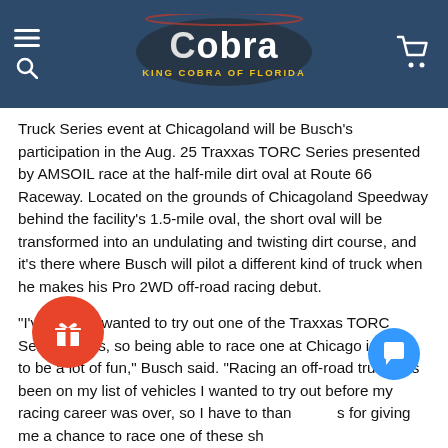Cobra – King Cobra of Florida
Truck Series event at Chicagoland will be Busch’s participation in the Aug. 25 Traxxas TORC Series presented by AMSOIL race at the half-mile dirt oval at Route 66 Raceway. Located on the grounds of Chicagoland Speedway behind the facility’s 1.5-mile oval, the short oval will be transformed into an undulating and twisting dirt course, and it’s there where Busch will pilot a different kind of truck when he makes his Pro 2WD off-road racing debut.
“I’ve always wanted to try out one of the Traxxas TORC Series trucks, so being able to race one at Chicago is going to be a lot of fun,” Busch said. “Racing an off-road truck has been on my list of vehicles I wanted to try out before my racing career was over, so I have to thank [them] for giving me a chance to race one of these short courses for the first time. It’s the perfect way to help kick off the new partnership with Traxxas and KBM.”